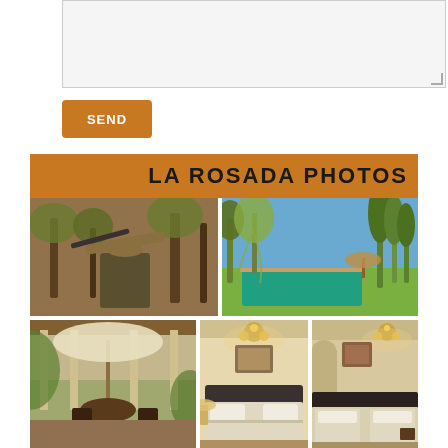[Figure (other): Text input textarea box (empty, gray background)]
SEND
LA ROSADA PHOTOS
[Figure (photo): Man aiming a shotgun in a wooded area (hunting scene)]
[Figure (photo): Outdoor swimming pool surrounded by green trees and lawn]
[Figure (photo): Covered outdoor terrace/patio with table and chairs under umbrella]
[Figure (photo): Hotel bedroom interior with double bed and warm lighting]
[Figure (photo): Hotel bedroom interior with two beds and chandelier lighting]